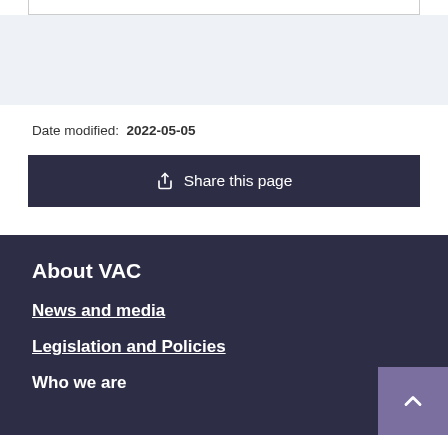Date modified: 2022-05-05
Share this page
About VAC
News and media
Legislation and Policies
Who we are